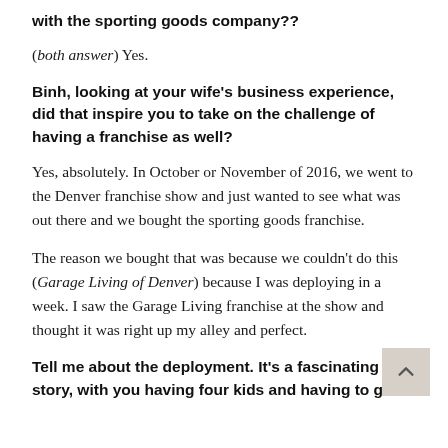with the sporting goods company??
(both answer) Yes.
Binh, looking at your wife's business experience, did that inspire you to take on the challenge of having a franchise as well?
Yes, absolutely. In October or November of 2016, we went to the Denver franchise show and just wanted to see what was out there and we bought the sporting goods franchise.
The reason we bought that was because we couldn't do this (Garage Living of Denver) because I was deploying in a week. I saw the Garage Living franchise at the show and thought it was right up my alley and perfect.
Tell me about the deployment. It's a fascinating story, with you having four kids and having to go